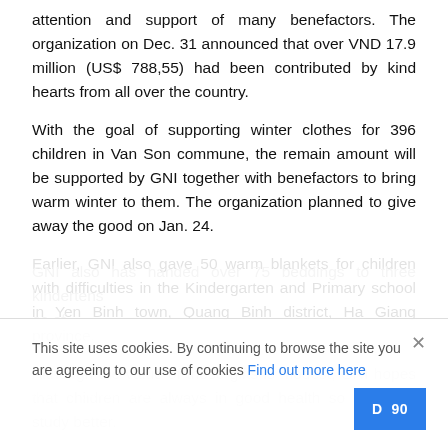attention and support of many benefactors. The organization on Dec. 31 announced that over VND 17.9 million (US$ 788,55) had been contributed by kind hearts from all over the country.
With the goal of supporting winter clothes for 396 children in Van Son commune, the remain amount will be supported by GNI together with benefactors to bring warm winter to them. The organization planned to give away the good on Jan. 24.
Earlier, GNI also gave 50 warm blankets for children with difficulties in the Kindergarten and Primary school in Yen Binh town, Quang Binh district, Ha Giang province.
Although the value of those gifts is modest, GNI hopes that children are always in good health so they can study better.
GNI also has handed over 75 beddings to three kindergartens ... es of ... more than VD 90 million (US$ 3,893).
This site uses cookies. By continuing to browse the site you are agreeing to our use of cookies Find out more here